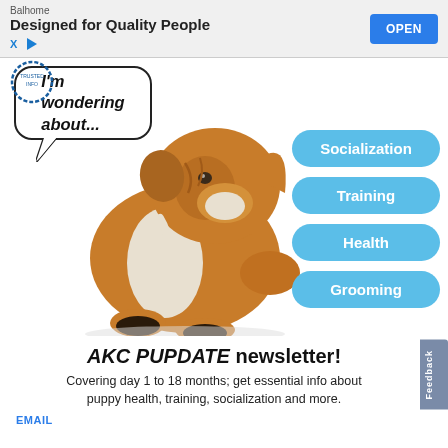[Figure (screenshot): Advertisement banner: Balhome - Designed for Quality People, with OPEN button]
[Figure (photo): English Bulldog puppy sitting and looking upward, with a speech bubble saying 'I'm wondering about...' and four blue pill-shaped buttons on the right: Socialization, Training, Health, Grooming]
AKC PUPDATE newsletter!
Covering day 1 to 18 months; get essential info about puppy health, training, socialization and more.
EMAIL